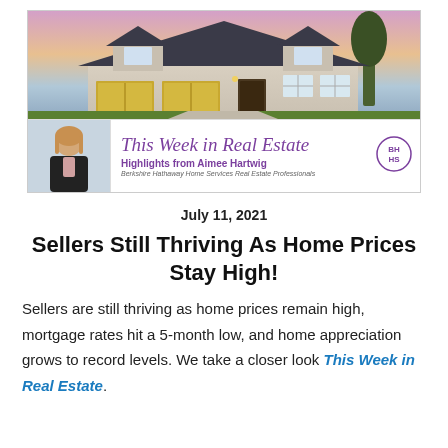[Figure (photo): Banner image showing a large craftsman-style house at dusk with a purple-pink sky, two-car garage, and a realtor agent photo below alongside branding text reading 'This Week in Real Estate – Highlights from Aimee Hartwig – Berkshire Hathaway Home Services Real Estate Professionals' with a BHHS logo]
July 11, 2021
Sellers Still Thriving As Home Prices Stay High!
Sellers are still thriving as home prices remain high, mortgage rates hit a 5-month low, and home appreciation grows to record levels. We take a closer look This Week in Real Estate.